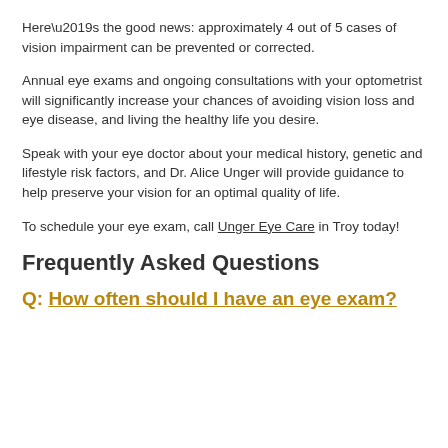Here’s the good news: approximately 4 out of 5 cases of vision impairment can be prevented or corrected.
Annual eye exams and ongoing consultations with your optometrist will significantly increase your chances of avoiding vision loss and eye disease, and living the healthy life you desire.
Speak with your eye doctor about your medical history, genetic and lifestyle risk factors, and Dr. Alice Unger will provide guidance to help preserve your vision for an optimal quality of life.
To schedule your eye exam, call Unger Eye Care in Troy today!
Frequently Asked Questions
Q: How often should I have an eye exam?